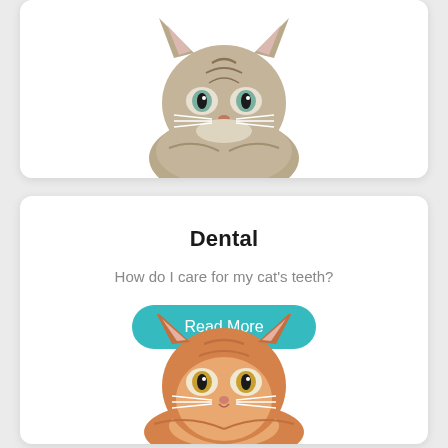[Figure (photo): Tabby kitten looking forward, partially visible at top of page, white background]
Dental
How do I care for my cat's teeth?
Read More
[Figure (photo): Orange tabby cat looking forward, partially visible at bottom of second card]